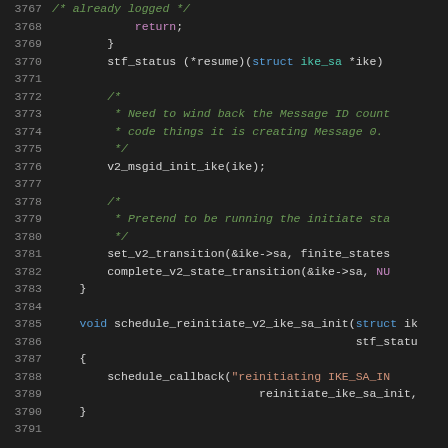[Figure (screenshot): Source code editor showing C code lines 3767-3791 with syntax highlighting on dark background. Lines include code for returning, stf_status function pointer, comments about Message ID counter, v2_msgid_init_ike call, set_v2_transition and complete_v2_state_transition calls, and a schedule_reinitiate_v2_ike_sa_init function with schedule_callback.]